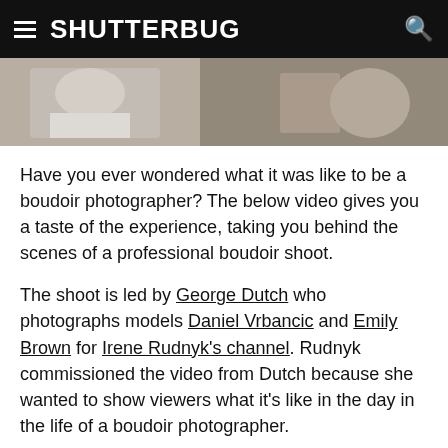SHUTTERBUG
[Figure (photo): Partial photo showing a boudoir photo shoot scene, cropped at top of page]
Have you ever wondered what it was like to be a boudoir photographer? The below video gives you a taste of the experience, taking you behind the scenes of a professional boudoir shoot.
The shoot is led by George Dutch who photographs models Daniel Vrbancic and Emily Brown for Irene Rudnyk's channel. Rudnyk commissioned the video from Dutch because she wanted to show viewers what it's like in the day in the life of a boudoir photographer.
To do to so, the models Dutch...DIY...